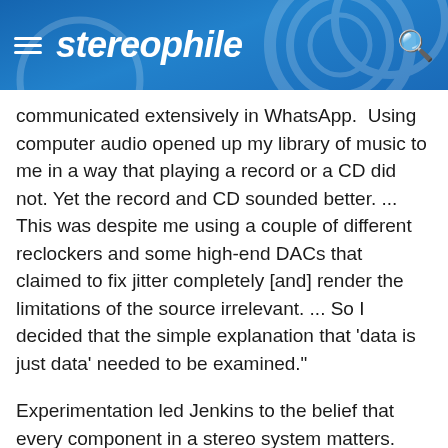stereophile
communicated extensively in WhatsApp.  Using computer audio opened up my library of music to me in a way that playing a record or a CD did not. Yet the record and CD sounded better. ... This was despite me using a couple of different reclockers and some high-end DACs that claimed to fix jitter completely [and] render the limitations of the source irrelevant. ... So I decided that the simple explanation that 'data is just data' needed to be examined."
Experimentation led Jenkins to the belief that every component in a stereo system matters. "For computer audio, the idea that you can do a bad job at the source and fix it later is simply out of line with what I hear. ... Many of our competitors focus on